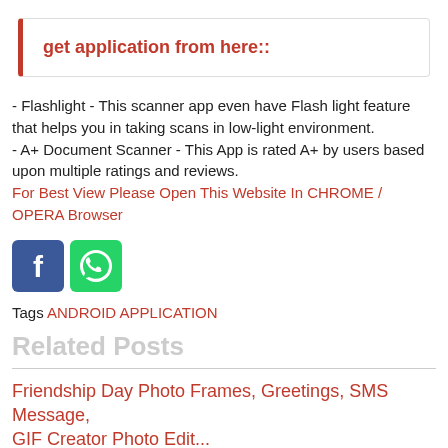get application from here::
- Flashlight - This scanner app even have Flash light feature that helps you in taking scans in low-light environment.
- A+ Document Scanner - This App is rated A+ by users based upon multiple ratings and reviews.
For Best View Please Open This Website In CHROME / OPERA Browser
[Figure (other): Facebook and WhatsApp social share icon buttons]
Tags ANDROID APPLICATION
Related Posts
Friendship Day Photo Frames, Greetings, SMS Message, GIF Creator Photo Edit...